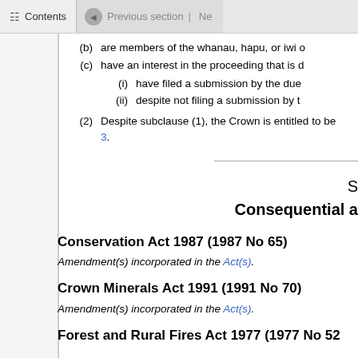Contents | Previous section | Ne
(b)   are members of the whanau, hapu, or iwi o
(c)   have an interest in the proceeding that is d
(i)   have filed a submission by the due
(ii)   despite not filing a submission by t
(2)   Despite subclause (1), the Crown is entitled to be... 3.
S
Consequential a
Conservation Act 1987 (1987 No 65)
Amendment(s) incorporated in the Act(s).
Crown Minerals Act 1991 (1991 No 70)
Amendment(s) incorporated in the Act(s).
Forest and Rural Fires Act 1977 (1977 No 52